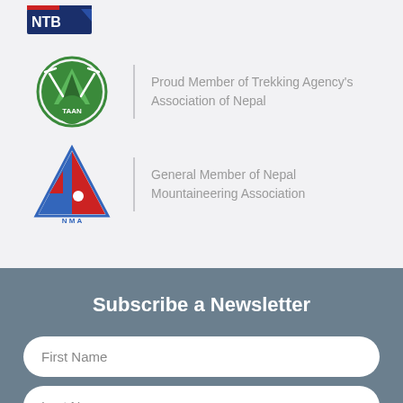[Figure (logo): NTB Nepal Tourism Board logo partially visible at top left]
[Figure (logo): TAAN Trekking Agencies Association of Nepal circular green logo]
Proud Member of Trekking Agency's Association of Nepal
[Figure (logo): NMA Nepal Mountaineering Association triangle logo with blue and red]
General Member of Nepal Mountaineering Association
Subscribe a Newsletter
First Name
Last Name